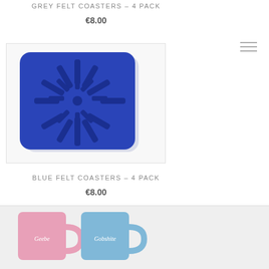GREY FELT COASTERS – 4 PACK
€8.00
[Figure (photo): Blue felt coaster with decorative laser-cut starburst/leaf pattern, photographed on white background]
BLUE FELT COASTERS – 4 PACK
€8.00
[Figure (photo): Two ceramic mugs, one pink and one blue, with text 'Geebeg' and 'Gobshite' respectively]